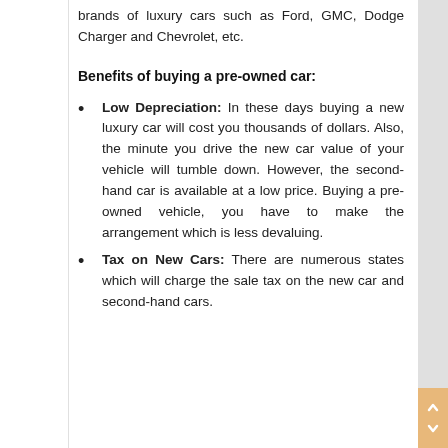brands of luxury cars such as Ford, GMC, Dodge Charger and Chevrolet, etc.
Benefits of buying a pre-owned car:
Low Depreciation: In these days buying a new luxury car will cost you thousands of dollars. Also, the minute you drive the new car value of your vehicle will tumble down. However, the second-hand car is available at a low price. Buying a pre-owned vehicle, you have to make the arrangement which is less devaluing.
Tax on New Cars: There are numerous states which will charge the sale tax on the new car and second-hand cars.